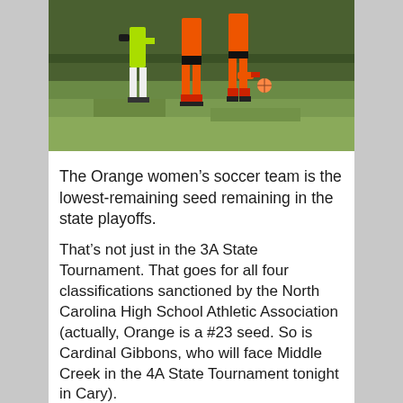[Figure (photo): Soccer players on a grass field. One player in a green jersey on the left, two players in orange jerseys in the center/right. Players' legs and lower bodies visible, grass field background with trees.]
The Orange women's soccer team is the lowest-remaining seed remaining in the state playoffs.
That's not just in the 3A State Tournament. That goes for all four classifications sanctioned by the North Carolina High School Athletic Association (actually, Orange is a #23 seed. So is Cardinal Gibbons, who will face Middle Creek in the 4A State Tournament tonight in Cary).
Tonight, Orange will attempt to reach the state quarterfinals when they face Walter Williams in